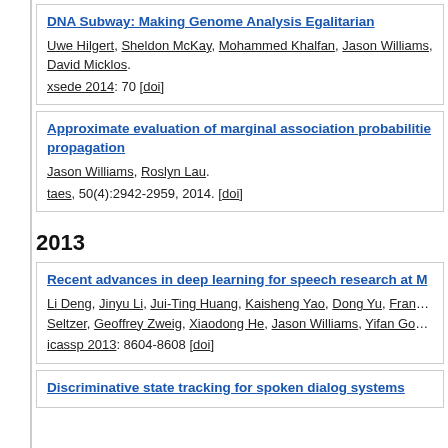DNA Subway: Making Genome Analysis Egalitarian — Uwe Hilgert, Sheldon McKay, Mohammed Khalfan, Jason Williams, David Micklos. xsede 2014: 70 [doi]
Approximate evaluation of marginal association probabilities ... propagation — Jason Williams, Roslyn Lau. taes, 50(4):2942-2959, 2014. [doi]
2013
Recent advances in deep learning for speech research at M... — Li Deng, Jinyu Li, Jui-Ting Huang, Kaisheng Yao, Dong Yu, Fran... Seltzer, Geoffrey Zweig, Xiaodong He, Jason Williams, Yifan Go... icassp 2013: 8604-8608 [doi]
Discriminative state tracking for spoken dialog systems